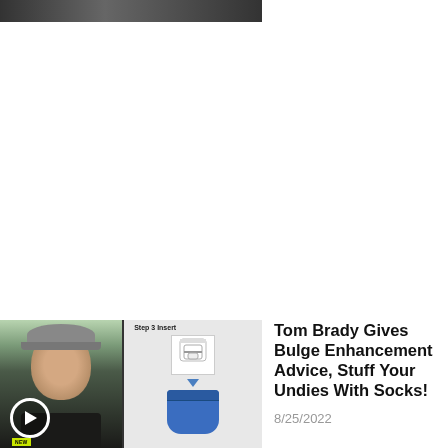[Figure (photo): Partial top image showing two people, cropped at top of page]
[Figure (photo): Video thumbnail showing a man with backwards cap and a diagram showing Step 3 Insert with socks and blue underwear, with a play button and NEW badge]
Tom Brady Gives Bulge Enhancement Advice, Stuff Your Undies With Socks!
8/25/2022